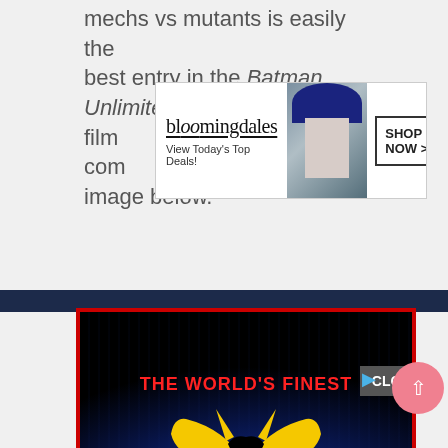mechs vs mutants is easily the best entry in the Batman Unlimited film … com … image below.
[Figure (screenshot): Bloomingdales advertisement banner with logo, 'View Today's Top Deals!', model in hat, and SHOP NOW > button]
[Figure (photo): Batman Unlimited: Mechs vs Mutants review image with red border, black background, blue glow, yellow Batman logo, and text 'THE WORLD'S FINEST', 'BATMAN', 'UNLIMITED', 'MECHS VS MUTANTS', 'REVIEW']
A small subsite dedicated to Batman Unlimited: Mechs vs Mutants has also available at The Wor… asso…